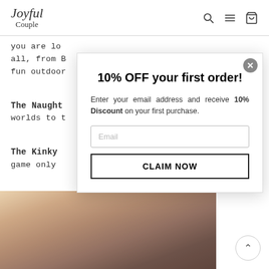Joyful Couple
you are lo... all, from B... fun outdoor...
The Naught... worlds to t...
The Kinky ... game only ...
[Figure (photo): Couple in intimate pose on bed]
10% OFF your first order!
Enter your email address and receive 10% Discount on your first purchase.
Email
CLAIM NOW